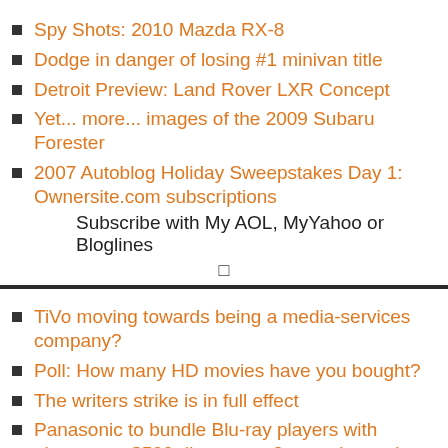Spy Shots: 2010 Mazda RX-8
Dodge in danger of losing #1 minivan title
Detroit Preview: Land Rover LXR Concept
Yet... more... images of the 2009 Subaru Forester
2007 Autoblog Holiday Sweepstakes Day 1: Ownersite.com subscriptions
Subscribe with My AOL, MyYahoo or Bloglines
TiVo moving towards being a media-services company?
Poll: How many HD movies have you bought?
The writers strike is in full effect
Panasonic to bundle Blu-ray players with plasmas at $500 discount -- 2 new players in January
WeaKnees takes TiVo HD units to 2TB
Subscribe with My AOL, MyYahoo or Bloglines